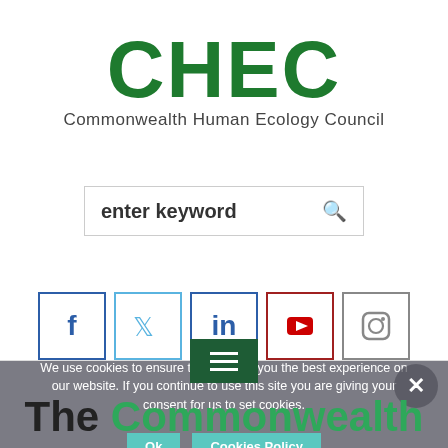CHEC
Commonwealth Human Ecology Council
[Figure (screenshot): Search input box with placeholder text 'enter keyword' and a search icon]
[Figure (infographic): Row of 5 social media icon buttons: Facebook (blue border, f), Twitter (light blue border, bird), LinkedIn (blue border, in), YouTube (red border, YouTube logo), Instagram (grey border, camera icon)]
We use cookies to ensure that we give you the best experience on our website. If you continue to use this site you are giving your consent for us to set cookies.
Ok   Cookies Policy
The Commonwealth